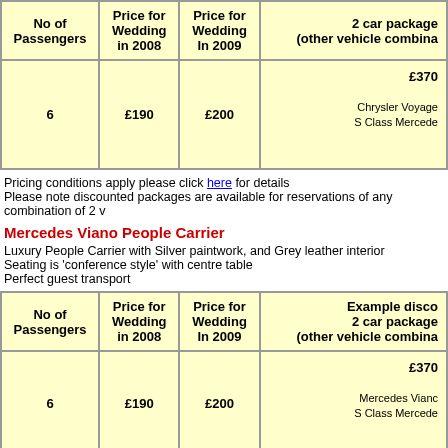| No of Passengers | Price for Wedding in 2008 | Price for Wedding In 2009 | 2 car package (other vehicle combinations) |
| --- | --- | --- | --- |
| 6 | £190 | £200 | £370
Chrysler Voyager
S Class Mercedes |
Pricing conditions apply please click here for details
Please note discounted packages are available for reservations of any combination of 2 v
Mercedes Viano People Carrier
Luxury People Carrier with Silver paintwork, and Grey leather interior
Seating is 'conference style' with centre table
Perfect guest transport
| No of Passengers | Price for Wedding in 2008 | Price for Wedding In 2009 | Example disco
2 car package
(other vehicle combinations) |
| --- | --- | --- | --- |
| 6 | £190 | £200 | £370
Mercedes Viano
S Class Mercedes |